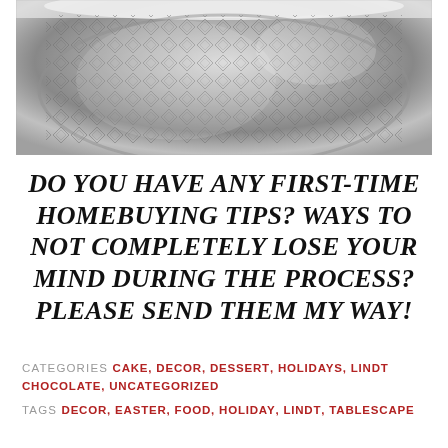[Figure (photo): Close-up photo of a crystal/cut-glass plate or dish with diamond pattern, with what appears to be white frosting or cream visible at the top edge. Gray/silver toned.]
DO YOU HAVE ANY FIRST-TIME HOMEBUYING TIPS? WAYS TO NOT COMPLETELY LOSE YOUR MIND DURING THE PROCESS? PLEASE SEND THEM MY WAY!
CATEGORIES CAKE, DECOR, DESSERT, HOLIDAYS, LINDT CHOCOLATE, UNCATEGORIZED
TAGS DECOR, EASTER, FOOD, HOLIDAY, LINDT, TABLESCAPE